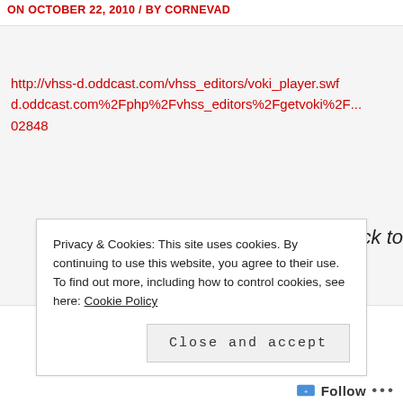ON OCTOBER 22, 2010 / BY CORNEVAD
http://vhss-d.oddcast.com/vhss_editors/voki_player.swf?... d.oddcast.com%2Fphp%2Fvhss_editors%2Fgetvoki%2F... 02848
Click to
Privacy & Cookies: This site uses cookies. By continuing to use this website, you agree to their use.
To find out more, including how to control cookies, see here: Cookie Policy
Close and accept
Follow ...